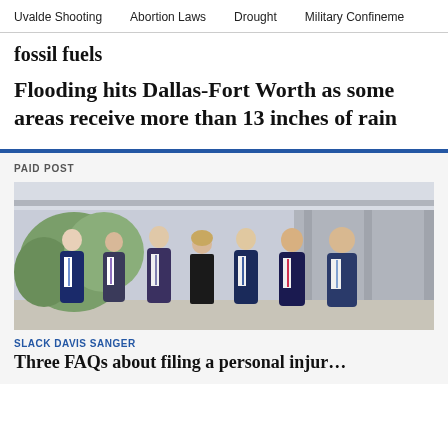Uvalde Shooting   Abortion Laws   Drought   Military Confineme…
fossil fuels
Flooding hits Dallas-Fort Worth as some areas receive more than 13 inches of rain
PAID POST
[Figure (photo): Group photo of seven attorneys in business attire standing in an outdoor corridor with greenery in the background. Six men and one woman, all in dark suits.]
SLACK DAVIS SANGER
Three FAQs about filing a personal injur…